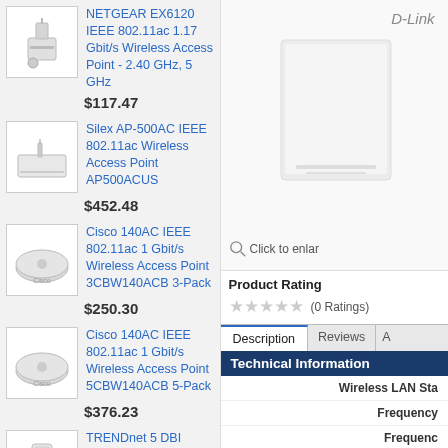NETGEAR EX6120 IEEE 802.11ac 1.17 Gbit/s Wireless Access Point - 2.40 GHz, 5 GHz
$117.47
Silex AP-500AC IEEE 802.11ac Wireless Access Point AP500ACUS
$452.48
Cisco 140AC IEEE 802.11ac 1 Gbit/s Wireless Access Point 3CBW140ACB 3-Pack
$250.30
Cisco 140AC IEEE 802.11ac 1 Gbit/s Wireless Access Point 5CBW140ACB 5-Pack
$376.23
TRENDnet 5 DBI Wireless AC1300 Outdoor PoE+ Omni-Directional Access Point; TEW-841APBO; 4 X 5 DBI Omni Directional Antennas; Point-to-Point &
[Figure (photo): D-Link wireless access point product image, white device on white background with D-Link branding]
Click to enlar
Product Rating
(0 Ratings)
Description | Reviews | A
Technical Information
Wireless LAN Sta
Frequency
Frequenc